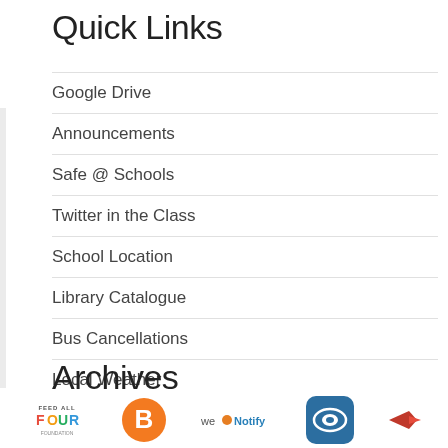Quick Links
Google Drive
Announcements
Safe @ Schools
Twitter in the Class
School Location
Library Catalogue
Bus Cancellations
Local Weather
Daily Announcement Archive
Archives
[Figure (logo): Feed All Four logo]
[Figure (logo): Bloomz B orange circle logo]
[Figure (logo): We Notify logo]
[Figure (logo): CBS eye blue rounded square logo]
[Figure (logo): Small orange arrow/bird logo]